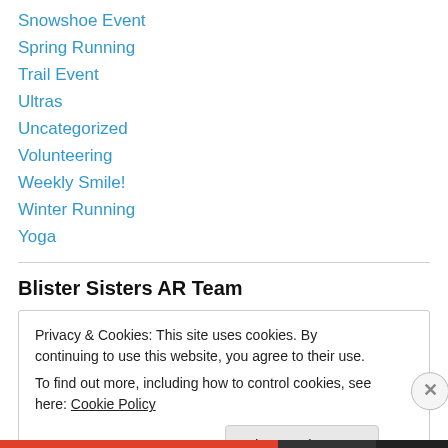Snowshoe Event
Spring Running
Trail Event
Ultras
Uncategorized
Volunteering
Weekly Smile!
Winter Running
Yoga
Blister Sisters AR Team
Privacy & Cookies: This site uses cookies. By continuing to use this website, you agree to their use.
To find out more, including how to control cookies, see here: Cookie Policy